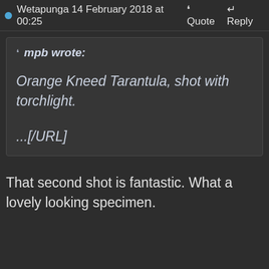Wetapunga 14 February 2018 at 00:25
Quote  Reply
mpb wrote:

Orange Kneed Tarantula, shot with torchlight.

...[/URL]
That second shot is fantastic. What a lovely looking specimen.